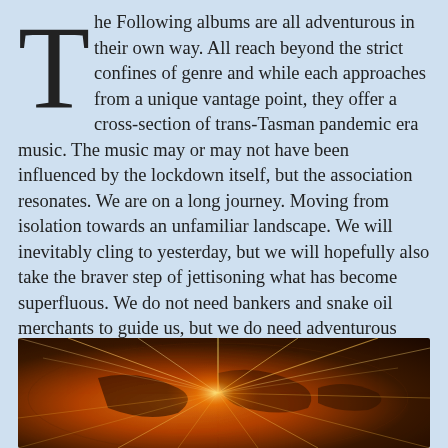The Following albums are all adventurous in their own way. All reach beyond the strict confines of genre and while each approaches from a unique vantage point, they offer a cross-section of trans-Tasman pandemic era music. The music may or may not have been influenced by the lockdown itself, but the association resonates. We are on a long journey. Moving from isolation towards an unfamiliar landscape. We will inevitably cling to yesterday, but we will hopefully also take the braver step of jettisoning what has become superfluous. We do not need bankers and snake oil merchants to guide us, but we do need adventurous musicians.
[Figure (photo): Abstract photo of glowing light streaks radiating outward over a dark globe/world map background, with orange and golden tones suggesting energy or connectivity]